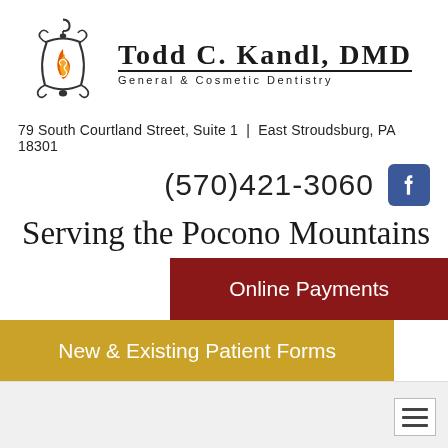[Figure (logo): Todd C. Kandl DMD General & Cosmetic Dentistry logo with decorative lantern/flame graphic]
79 South Courtland Street, Suite 1  |  East Stroudsburg, PA 18301
(570)421-3060
Serving the Pocono Mountains and New Jersey
Online Payments
New & Existing Patient Forms